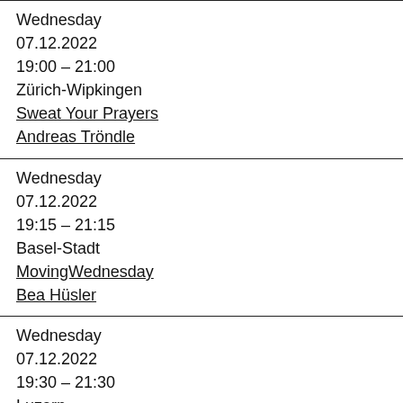Wednesday
07.12.2022
19:00 – 21:00
Zürich-Wipkingen
Sweat Your Prayers
Andreas Tröndle
Wednesday
07.12.2022
19:15 – 21:15
Basel-Stadt
MovingWednesday
Bea Hüsler
Wednesday
07.12.2022
19:30 – 21:30
Luzern
LuzernTanzt5Rhythmen